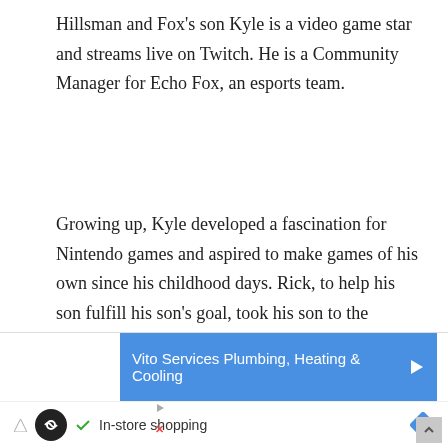Hillsman and Fox's son Kyle is a video game star and streams live on Twitch. He is a Community Manager for Echo Fox, an esports team.
Growing up, Kyle developed a fascination for Nintendo games and aspired to make games of his own since his childhood days. Rick, to help his son fulfill his son's goal, took his son to the offices of Riot Games, the company behind League of Legends, for a job interview. Hillsman's son got the position and that's how he started his journey as a gamer.
[Figure (other): Advertisement banner: Vito Services Plumbing, Heating & Cooling (blue bar with play arrow icon), and a bottom bar with a black circle infinity logo, checkmark, 'In-store shopping' text, and a blue diamond navigation icon.]